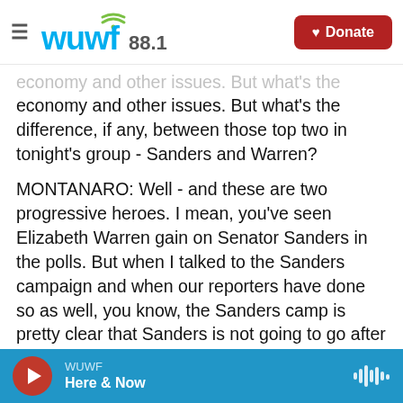WUWF 88.1 | Donate
economy and other issues. But what's the difference, if any, between those top two in tonight's group - Sanders and Warren?
MONTANARO: Well - and these are two progressive heroes. I mean, you've seen Elizabeth Warren gain on Senator Sanders in the polls. But when I talked to the Sanders campaign and when our reporters have done so as well, you know, the Sanders camp is pretty clear that Sanders is not going to go after Warren. He sees her as an ally in implementing progressive change. But again, they are competing for the same job, and at some point, they might
WUWF | Here & Now